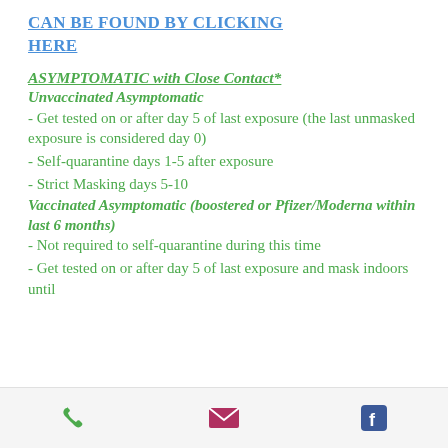CAN BE FOUND BY CLICKING HERE
ASYMPTOMATIC with Close Contact*
Unvaccinated Asymptomatic
- Get tested on or after day 5 of last exposure (the last unmasked exposure is considered day 0)
- Self-quarantine days 1-5 after exposure
- Strict Masking days 5-10
Vaccinated Asymptomatic (boostered or Pfizer/Moderna within last 6 months)
- Not required to self-quarantine during this time
- Get tested on or after day 5 of last exposure and mask indoors until
Phone | Email | Facebook